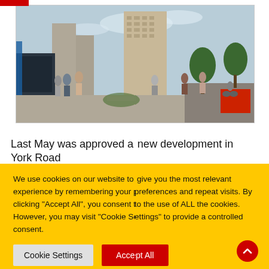[Figure (photo): Rendered street scene showing a new urban development on York Road with pedestrians, trees, a tall residential building, and a road with a red bus visible in the background.]
Last May was approved a new development in York Road
We use cookies on our website to give you the most relevant experience by remembering your preferences and repeat visits. By clicking “Accept All”, you consent to the use of ALL the cookies. However, you may visit "Cookie Settings" to provide a controlled consent.